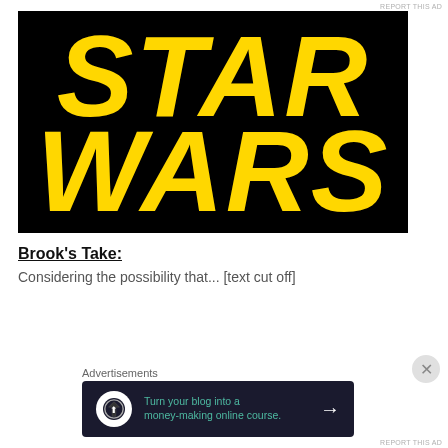REPORT THIS AD
[Figure (logo): Star Wars logo — yellow outlined block letters spelling STAR WARS on a black background]
Brook's Take:
[partial text cut off by advertisement overlay]
Advertisements
[Figure (infographic): Advertisement banner: dark navy background with Teachable logo icon, teal text reading 'Turn your blog into a money-making online course.' and a white arrow]
REPORT THIS AD